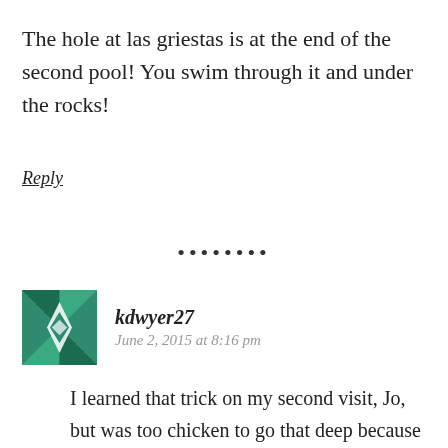The hole at las griestas is at the end of the second pool! You swim through it and under the rocks!
Reply
•••••••
[Figure (illustration): User avatar icon with teal/green geometric pattern resembling a quilt or mosaic design]
kdwyer27
June 2, 2015 at 8:16 pm
I learned that trick on my second visit, Jo, but was too chicken to go that deep because it was high tide and I didn't know how large the hole